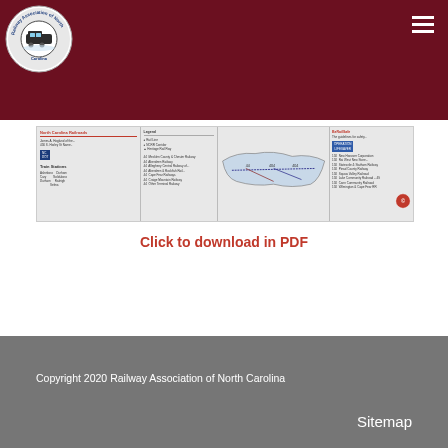Railway Association of North Carolina
[Figure (map): North Carolina railway map with train stations and route information, blurred preview image]
Click to download in PDF
Copyright 2020 Railway Association of North Carolina
Sitemap